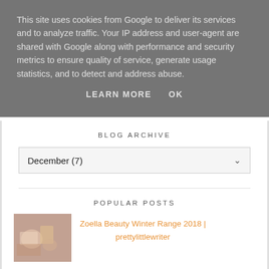This site uses cookies from Google to deliver its services and to analyze traffic. Your IP address and user-agent are shared with Google along with performance and security metrics to ensure quality of service, generate usage statistics, and to detect and address abuse.
LEARN MORE   OK
BLOG ARCHIVE
December (7)
POPULAR POSTS
Zoella Beauty Winter Range 2018 | prettylittlewriter